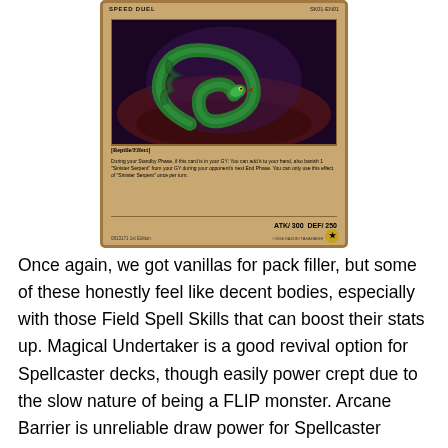[Figure (photo): Yu-Gi-Oh! Speed Duel trading card showing a green serpent/snake monster coiled against a dark purple and red background. Card shows [Reptile/Effect] type with effect text, ATK/300 DEF/250 stats, and edition/copyright information at bottom.]
Once again, we got vanillas for pack filler, but some of these honestly feel like decent bodies, especially with those Field Spell Skills that can boost their stats up. Magical Undertaker is a good revival option for Spellcaster decks, though easily power crept due to the slow nature of being a FLIP monster. Arcane Barrier is unreliable draw power for Spellcaster decks. Dweller in the Depths could be cute to build a deck around making this card have decent stats, as there are some good Continuous cards you can have, though not too